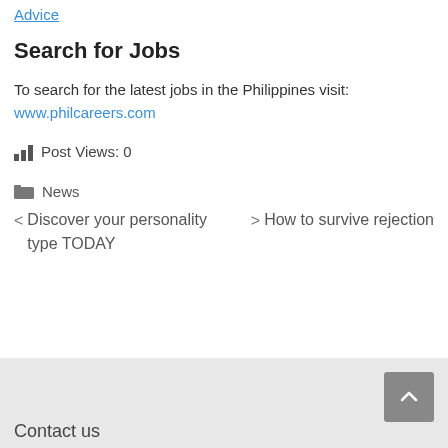Advice
Search for Jobs
To search for the latest jobs in the Philippines visit: www.philcareers.com
Post Views: 0
News
< Discover your personality type TODAY
> How to survive rejection
Contact us